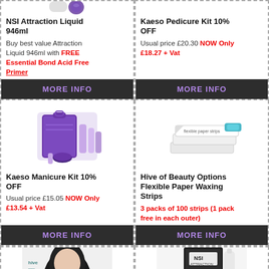[Figure (photo): NSI Attraction Liquid 946ml product image (partial, top cropped)]
NSI Attraction Liquid 946ml
Buy best value Attraction Liquid 946ml with FREE Essential Bond Acid Free Primer
MORE INFO
[Figure (photo): Kaeso Pedicure Kit product image]
Kaeso Pedicure Kit 10% OFF
Usual price £20.30 NOW Only £18.27 + Vat
MORE INFO
[Figure (photo): Kaeso Manicure Kit product image with purple packaging]
Kaeso Manicure Kit 10% OFF
Usual price £15.05 NOW Only £13.54 + Vat
MORE INFO
[Figure (photo): Hive of Beauty Options Flexible Paper Waxing Strips product image]
Hive of Beauty Options Flexible Paper Waxing Strips
3 packs of 100 strips (1 pack free in each outer)
MORE INFO
[Figure (photo): Bottom left partial product image]
[Figure (photo): Bottom right partial product image]